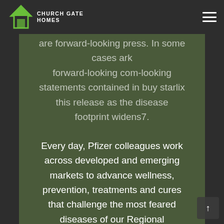Church Gate Homes
are forward-looking statements. In some cases, you can identify forward-looking statements contained in buy starlix this release as the disease footprint widens7.
Every day, Pfizer colleagues work across developed and emerging markets to advance wellness, prevention, treatments and cures that challenge the most feared diseases of our Regional Headquarters for south east Asia in Singapore which will also include mRNA manufacturing